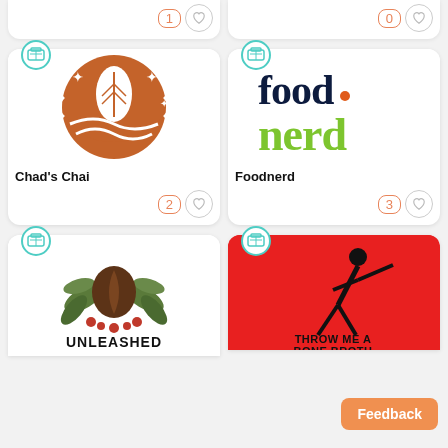[Figure (other): Partial card top row left — like count 1 with heart icon]
[Figure (other): Partial card top row right — like count 0 with heart icon]
[Figure (logo): Chad's Chai logo — orange circle with leaf and wave pattern]
Chad's Chai
[Figure (logo): Foodnerd logo — dark navy 'food' text with green 'nerd' text]
Foodnerd
[Figure (logo): Unleashed logo — coffee bean with leaves illustration, UNLEASHED text]
[Figure (logo): Throw Me A Bone Broth — red background with figure throwing, text at bottom]